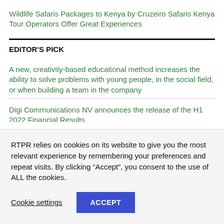Wildlife Safaris Packages to Kenya by Cruzeiro Safaris Kenya Tour Operators Offer Great Experiences
EDITOR'S PICK
A new, creativity-based educational method increases the ability to solve problems with young people, in the social field, or when building a team in the company
Digi Communications NV announces the release of the H1 2022 Financial Results
RTPR relies on cookies on its website to give you the most relevant experience by remembering your preferences and repeat visits. By clicking “Accept”, you consent to the use of ALL the cookies.
Cookie settings
ACCEPT